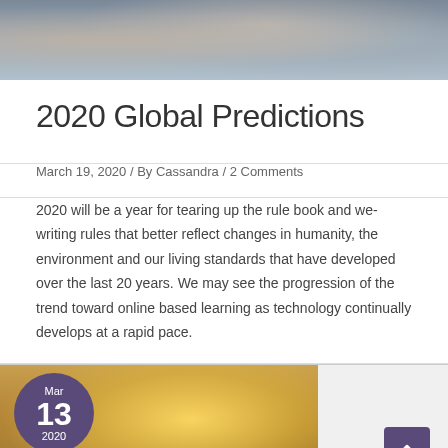[Figure (photo): Top banner photo showing people studying or writing, seen from above, muted blue-grey tones]
2020 Global Predictions
March 19, 2020 / By Cassandra / 2 Comments
2020 will be a year for tearing up the rule book and we-writing rules that better reflect changes in humanity, the environment and our living standards that have developed over the last 20 years. We may see the progression of the trend toward online based learning as technology continually develops at a rapid pace.
[Figure (photo): Second article thumbnail showing a woman with golden hair in sunlight, warm yellow-orange tones, with date badge Mar 13 2020 and text CASSANDRA TYNDALL at the bottom]